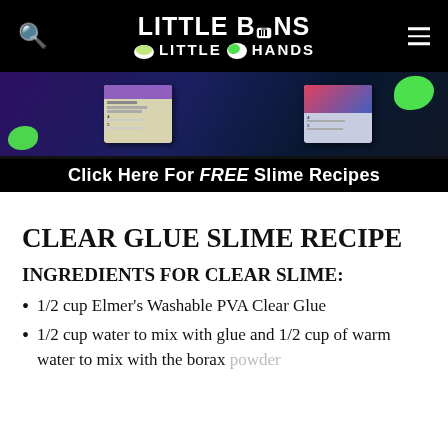Little Bins for Little Hands
[Figure (illustration): Banner advertisement with slime recipe cards on dark background with green slime blobs. Text reads: Click Here For FREE Slime Recipes]
CLEAR GLUE SLIME RECIPE
INGREDIENTS FOR CLEAR SLIME:
1/2 cup Elmer's Washable PVA Clear Glue
1/2 cup water to mix with glue and 1/2 cup of warm water to mix with the borax powder